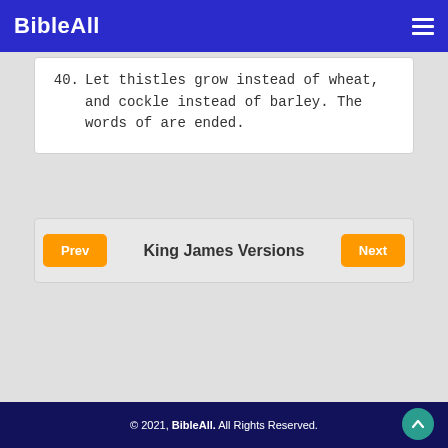BibleAll
40. Let thistles grow instead of wheat, and cockle instead of barley. The words of are ended.
King James Versions
© 2021, BibleAll. All Rights Reserved.